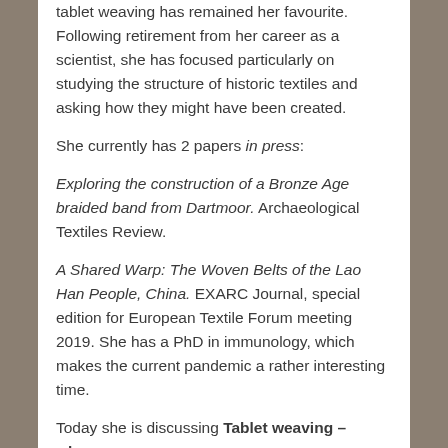tablet weaving has remained her favourite. Following retirement from her career as a scientist, she has focused particularly on studying the structure of historic textiles and asking how they might have been created.
She currently has 2 papers in press:
Exploring the construction of a Bronze Age braided band from Dartmoor. Archaeological Textiles Review.
A Shared Warp: The Woven Belts of the Lao Han People, China. EXARC Journal, special edition for European Textile Forum meeting 2019. She has a PhD in immunology, which makes the current pandemic a rather interesting time.
Today she is discussing Tablet weaving – where